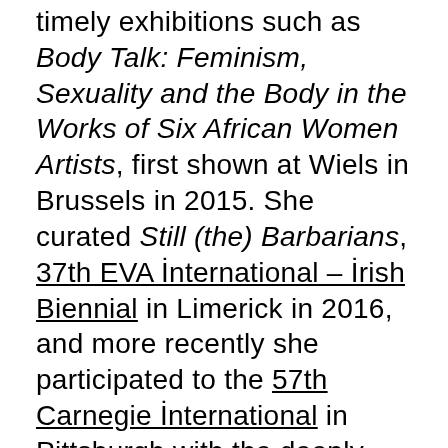timely exhibitions such as Body Talk: Feminism, Sexuality and the Body in the Works of Six African Women Artists, first shown at Wiels in Brussels in 2015. She curated Still (the) Barbarians, 37th EVA International – Irish Biennial in Limerick in 2016, and more recently she participated to the 57th Carnegie International in Pittsburgh with the deeply researched Dig Where You Stand (2018), a show within a show drawn from the collections of the Carnegie Museums of Art and Natural History. She was the initiator of the research project, Saving Bruce Lee: African and Arab Cinema in the age of Soviet Cultural Diplomacy...